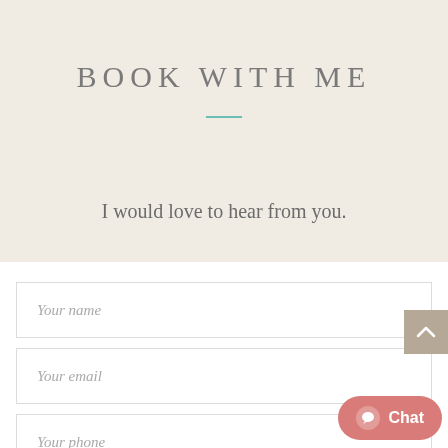BOOK WITH ME
I would love to hear from you.
[Figure (screenshot): Web contact form with three input fields: Your name, Your email, Your phone. White background form area on beige page. Includes a scroll-to-top button (tan/beige arrow) and a pink Chat button in the bottom right.]